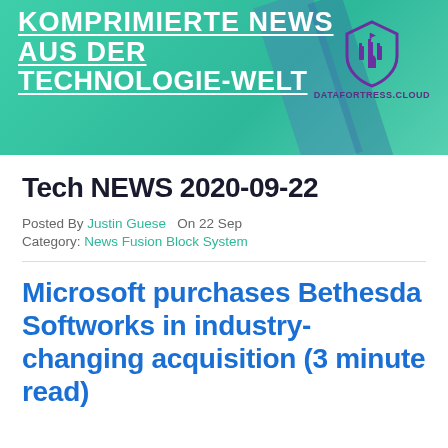[Figure (illustration): Banner with teal/green gradient background, bold white underlined German text 'KOMPRIMIERTE NEWS AUS DER TECHNOLOGIE-WELT', diagonal blue accent shapes, and DataFortress.cloud castle shield logo on the right]
Tech NEWS 2020-09-22
Posted By Justin Guese  On 22 Sep
Category: News Fusion Block System
Microsoft purchases Bethesda Softworks in industry-changing acquisition (3 minute read)